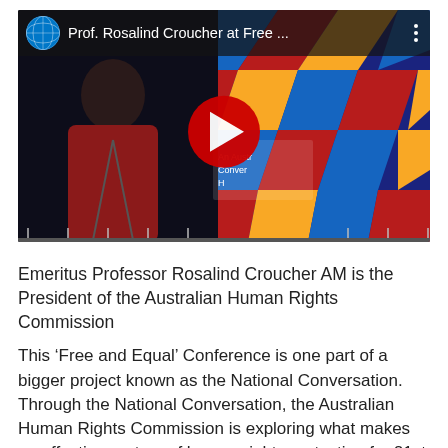[Figure (screenshot): YouTube video thumbnail showing Prof. Rosalind Croucher at Free ... conference, with a play button overlay. The thumbnail shows a person in a red jacket in front of a colorful geometric background with text 'An Austr... Conver... H...']
Emeritus Professor Rosalind Croucher AM is the President of the Australian Human Rights Commission
This ‘Free and Equal’ Conference is one part of a bigger project known as the National Conversation. Through the National Conversation, the Australian Human Rights Commission is exploring what makes an effective system of human rights protection for 21st century Australia?
The Commission will release a roadmap for national human rights reform in mid-2020